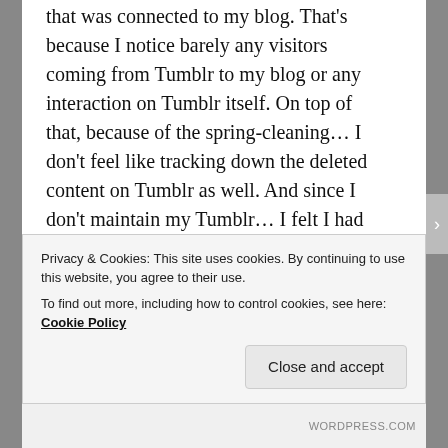that was connected to my blog. That's because I notice barely any visitors coming from Tumblr to my blog or any interaction on Tumblr itself. On top of that, because of the spring-cleaning... I don't feel like tracking down the deleted content on Tumblr as well. And since I don't maintain my Tumblr... I felt I had enough reasons to just delete it.
And finally, I have updated my blogroll and links everywhere. I have deleted links to old platforms I'm not using anymore, and I have added links to platforms I'm now quite active on. To avoid dating this article too much, I'm not going to list them here, but you can see
Privacy & Cookies: This site uses cookies. By continuing to use this website, you agree to their use.
To find out more, including how to control cookies, see here: Cookie Policy
Close and accept